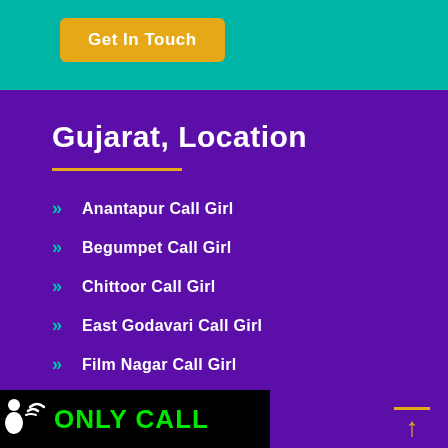Get In Touch
Gujarat, Location
Anantapur Call Girl
Begumpet Call Girl
Chittoor Call Girl
East Godavari Call Girl
Film Nagar Call Girl
Gachibowli Call Girl
Guntur Call Girl
[Figure (logo): ONLY CALL logo with person and phone wave icon on black background, green text]
↑ scroll to top